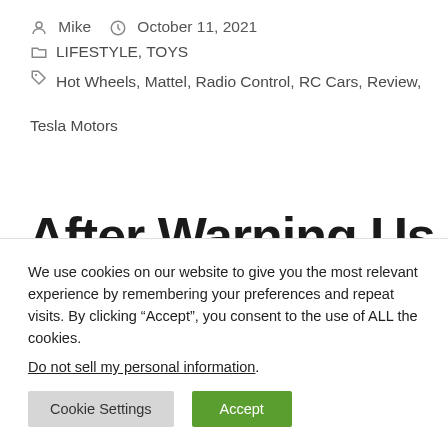Mike  October 11, 2021
LIFESTYLE, TOYS
Hot Wheels, Mattel, Radio Control, RC Cars, Review, Tesla Motors
After Warning Us About
We use cookies on our website to give you the most relevant experience by remembering your preferences and repeat visits. By clicking “Accept”, you consent to the use of ALL the cookies.
Do not sell my personal information.
Cookie Settings  Accept